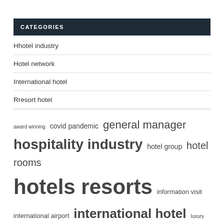CATEGORIES
Hhotel industry
Hotel network
International hotel
Rresort hotel
award winning  covid pandemic  general manager  hospitality industry  hotel group  hotel rooms  hotels resorts  information visit  international airport  international hotel  luxury hotel  real estate  swimming pool  united states